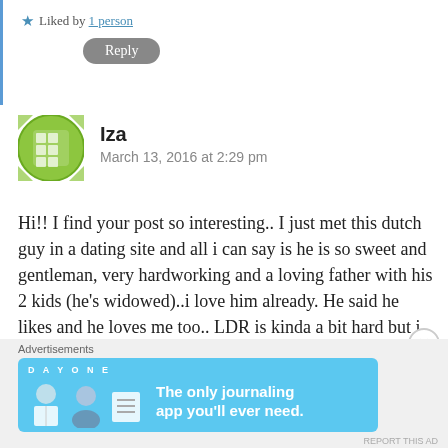Liked by 1 person
Reply
Iza
March 13, 2016 at 2:29 pm
Hi!! I find your post so interesting.. I just met this dutch guy in a dating site and all i can say is he is so sweet and gentleman, very hardworking and a loving father with his 2 kids (he’s widowed)..i love him already. He said he likes and he loves me too.. LDR is kinda a bit hard but i know we can make it. Im from Philippines and he’s planning to come visit me here soon. (no dates yet) I hope our
[Figure (other): Advertisement banner for Day One journaling app with blue background, icons, and text: 'The only journaling app you’ll ever need.']